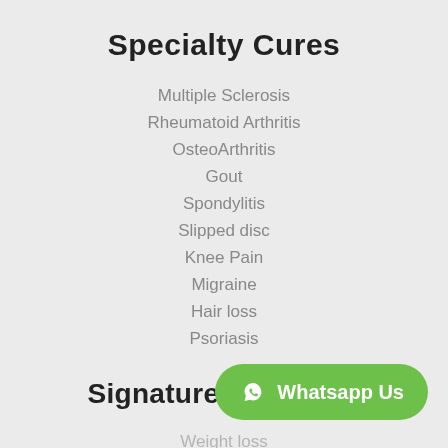Specialty Cures
Multiple Sclerosis
Rheumatoid Arthritis
OsteoArthritis
Gout
Spondylitis
Slipped disc
Knee Pain
Migraine
Hair loss
Psoriasis
Signature Programs
Weight loss
Diabetes
Stress Management